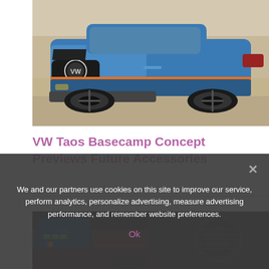[Figure (photo): Front view of a blue VW Taos Basecamp Concept SUV with black off-road wheels and orange accent stripe, photographed against a desert/scrubland background]
VW Taos Basecamp Concept Previews Future Accessories
[Figure (photo): Interior dashboard shot of a car showing infotainment screen with blue display, red/dark interior trim, and circular air vent]
We and our partners use cookies on this site to improve our service, perform analytics, personalize advertising, measure advertising performance, and remember website preferences.